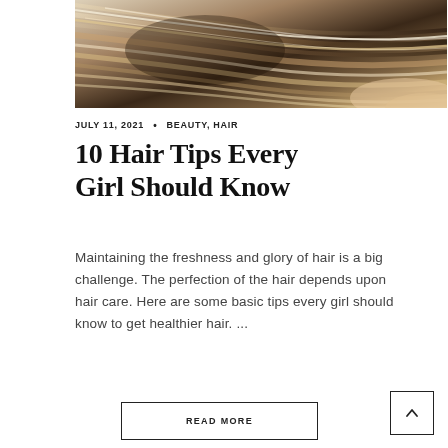[Figure (photo): Close-up photo of shiny, silky hair strands with highlights ranging from dark brown to blonde/light brown tones.]
JULY 11, 2021  •  BEAUTY, HAIR
10 Hair Tips Every Girl Should Know
Maintaining the freshness and glory of hair is a big challenge. The perfection of the hair depends upon hair care. Here are some basic tips every girl should know to get healthier hair. ...
READ MORE